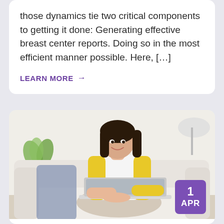those dynamics tie two critical components to getting it done: Generating effective breast center reports. Doing so in the most efficient manner possible. Here, […]
LEARN MORE →
[Figure (photo): Woman with dark hair wearing a yellow cardigan and white top, smiling while using a laptop computer, seated on a white sofa in a bright room with plants in the background]
1 APR
LATEST NEWS